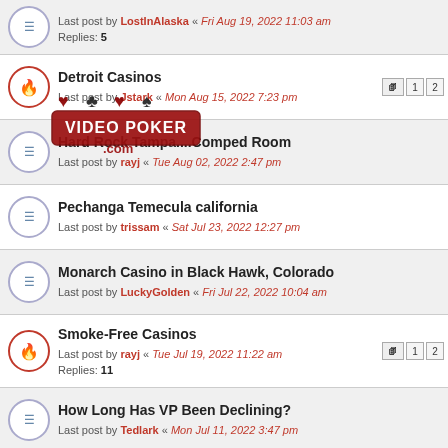Last post by LostInAlaska « Fri Aug 19, 2022 11:03 am
Replies: 5
Detroit Casinos
Last post by Jstark « Mon Aug 15, 2022 7:23 pm
Hard Rock Tampa....Comped Room
Last post by rayj « Tue Aug 02, 2022 2:47 pm
Pechanga Temecula california
Last post by trissam « Sat Jul 23, 2022 12:27 pm
Monarch Casino in Black Hawk, Colorado
Last post by LuckyGolden « Fri Jul 22, 2022 10:04 am
Smoke-Free Casinos
Last post by rayj « Tue Jul 19, 2022 11:22 am
Replies: 11
How Long Has VP Been Declining?
Last post by Tedlark « Mon Jul 11, 2022 3:47 pm
Frontgate SALES
20% off sitewide plus free shipping from August 19-22
This site uses cookies for personalized content and analytics. By continuing to use this site, you agree to this use.